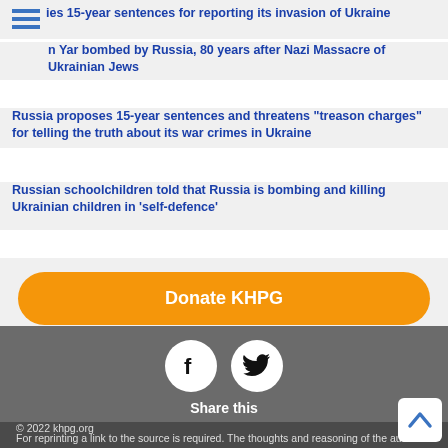ies 15-year sentences for reporting its invasion of Ukraine
n Yar bombed by Russia, 80 years after Nazi Massacre of Ukrainian Jews
Russia proposes 15-year sentences and threatens "treason charges" for telling the truth about its war crimes in Ukraine
Russian schoolchildren told that Russia is bombing and killing Ukrainian children in ‘self-defence’
[Figure (other): Donate KHPG orange button]
[Figure (other): Facebook and Twitter share icons with Share this label]
For reprinting a link to the source is required. The thoughts and reasoning of the authors do not always coincide with the views of the KHPG members
© 2022 khpg.org